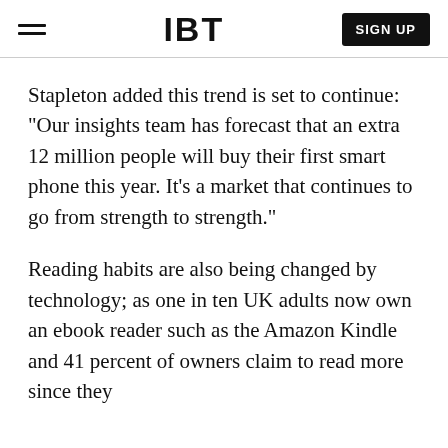IBT | SIGN UP
Stapleton added this trend is set to continue: "Our insights team has forecast that an extra 12 million people will buy their first smart phone this year. It's a market that continues to go from strength to strength."
Reading habits are also being changed by technology; as one in ten UK adults now own an ebook reader such as the Amazon Kindle and 41 percent of owners claim to read more since they